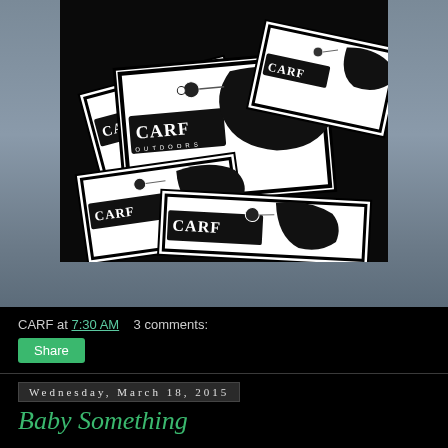[Figure (photo): Black and white photo of multiple CARF OUTDOORS branded sticker cards piled together, showing illustrated fish and lure designs with bold graphic art style]
CARF at 7:30 AM    3 comments:
Share
Wednesday, March 18, 2015
Baby Something